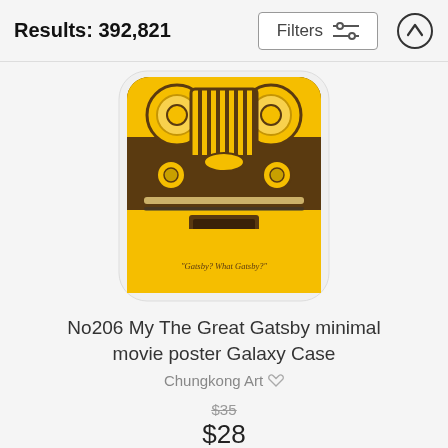Results: 392,821
[Figure (screenshot): Filters button with sliders icon and an up-arrow circle button in page header]
[Figure (photo): Yellow phone case with The Great Gatsby minimal art design showing a vintage car front view in yellow and brown with text 'Gatsby? What Gatsby?' on a white rounded rectangle background]
No206 My The Great Gatsby minimal movie poster Galaxy Case
Chungkong Art
$35
$28